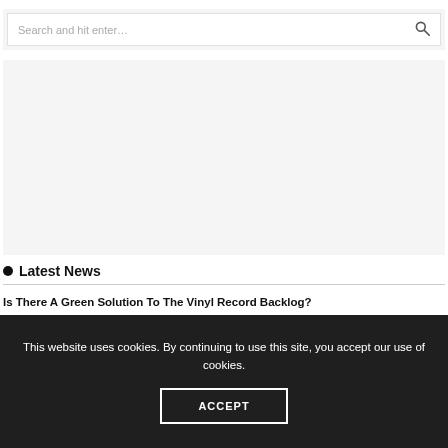[Figure (screenshot): Search bar with placeholder text 'Search and hit enter…' and magnifying glass icon on a light grey background]
[Figure (other): Empty grey advertisement or content placeholder area]
Latest News
Is There A Green Solution To The Vinyl Record Backlog?
This website uses cookies. By continuing to use this site, you accept our use of cookies.
ACCEPT